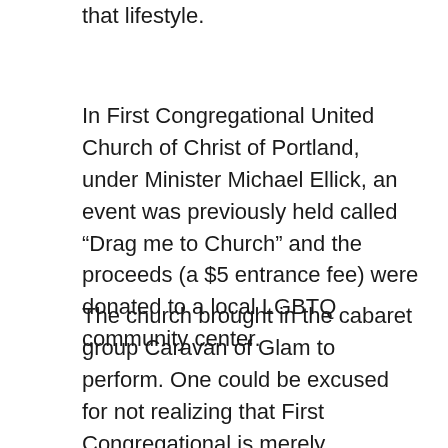that lifestyle.
In First Congregational United Church of Christ of Portland, under Minister Michael Ellick, an event was previously held called “Drag me to Church” and the proceeds (a $5 entrance fee) were donated to a local LGBTQ community center.
The church brought in the cabaret group Caravan of Glam to perform. One could be excused for not realizing that First Congregational is merely masquerading as a church upon seeing the four